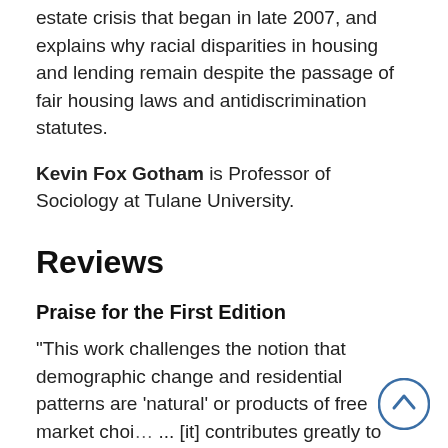estate crisis that began in late 2007, and explains why racial disparities in housing and lending remain despite the passage of fair housing laws and antidiscrimination statutes.
Kevin Fox Gotham is Professor of Sociology at Tulane University.
Reviews
Praise for the First Edition
“This work challenges the notion that demographic change and residential patterns are ‘natural’ or products of free market choi… ... [it] contributes greatly to our understand of b…